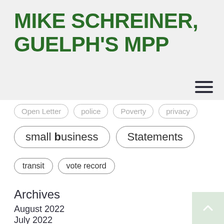MIKE SCHREINER, GUELPH'S MPP
Open Letter  police  Poverty  privacy
small business  Statements
transit  vote record
Archives
August 2022
July 2022
June 2022